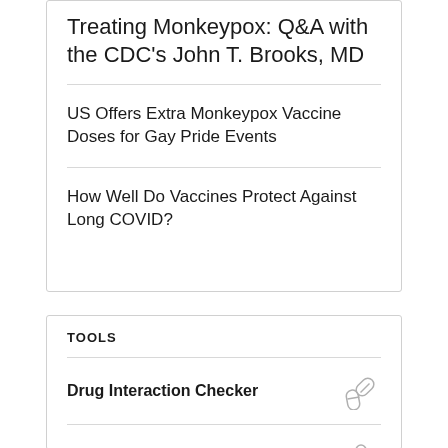Treating Monkeypox: Q&A with the CDC's John T. Brooks, MD
US Offers Extra Monkeypox Vaccine Doses for Gay Pride Events
How Well Do Vaccines Protect Against Long COVID?
TOOLS
Drug Interaction Checker
Pill Identifier